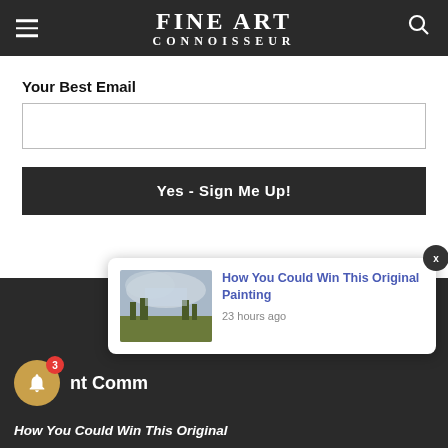FINE ART CONNOISSEUR
Your Best Email
Yes - Sign Me Up!
[Figure (screenshot): Popup notification card showing 'How You Could Win This Original Painting' with a landscape painting thumbnail and '23 hours ago' timestamp]
Recent Comments
How You Could Win This Original